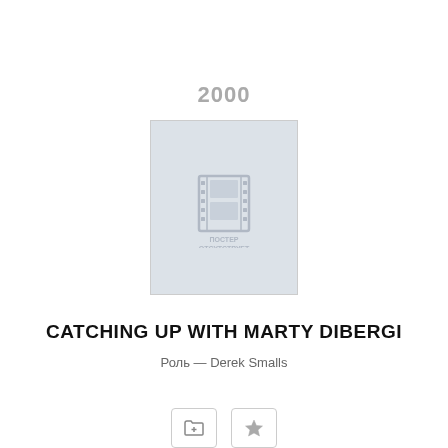2000
[Figure (illustration): Movie poster placeholder image showing a film strip icon with Russian text 'ПОСТЕР ОТСУТСТВУЕТ' (poster absent)]
CATCHING UP WITH MARTY DIBERGI
Роль — Derek Smalls
[Figure (other): Two UI buttons: a folder-with-plus icon and a star/bookmark icon]